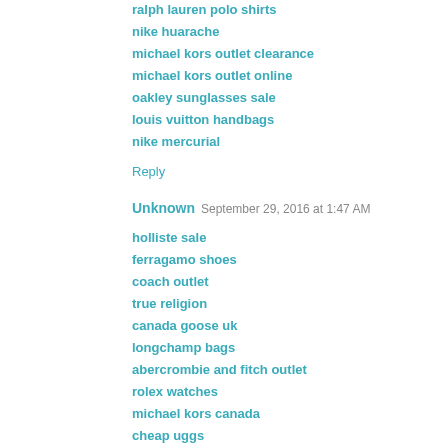ralph lauren polo shirts
nike huarache
michael kors outlet clearance
michael kors outlet online
oakley sunglasses sale
louis vuitton handbags
nike mercurial
Reply
Unknown  September 29, 2016 at 1:47 AM
holliste sale
ferragamo shoes
coach outlet
true religion
canada goose uk
longchamp bags
abercrombie and fitch outlet
rolex watches
michael kors canada
cheap uggs
2016929caivan